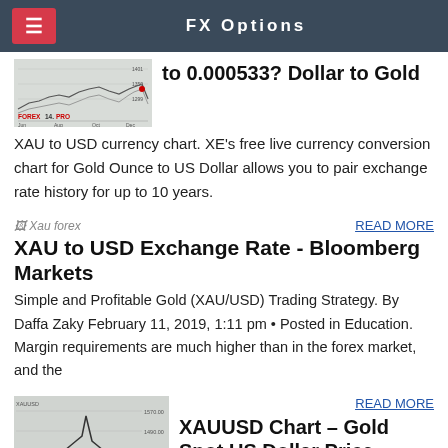FX Options
to 0.000533? Dollar to Gold
XAU to USD currency chart. XE's free live currency conversion chart for Gold Ounce to US Dollar allows you to pair exchange rate history for up to 10 years.
[Figure (screenshot): Small forex chart thumbnail with forex14.pro logo]
READ MORE
XAU to USD Exchange Rate - Bloomberg Markets
Simple and Profitable Gold (XAU/USD) Trading Strategy. By Daffa Zaky February 11, 2019, 1:11 pm • Posted in Education. Margin requirements are much higher than in the forex market, and the
[Figure (screenshot): Gold price chart thumbnail with forex14.pro logo showing downward trend]
READ MORE
XAUUSD Chart – Gold Spot US Dollar Price — TradingView
*Please note: The time indicated herein